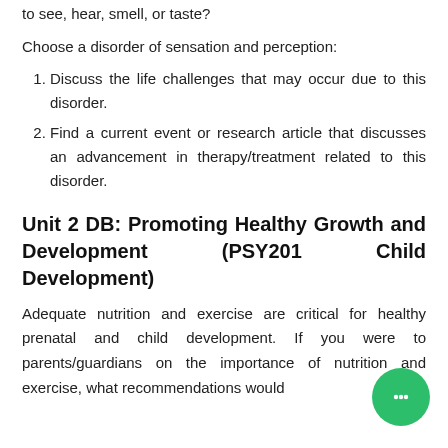Have you ever wondered what it is like to not be able to see, hear, smell, or taste?
Choose a disorder of sensation and perception:
Discuss the life challenges that may occur due to this disorder.
Find a current event or research article that discusses an advancement in therapy/treatment related to this disorder.
Unit 2 DB: Promoting Healthy Growth and Development (PSY201 Child Development)
Adequate nutrition and exercise are critical for healthy prenatal and child development. If you were to parents/guardians on the importance of nutrition and exercise, what recommendations would